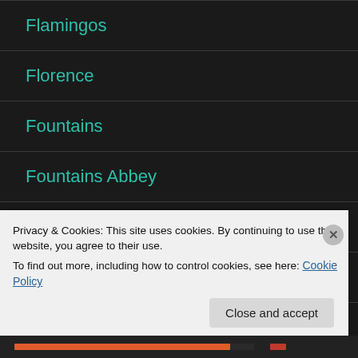Flamingos
Florence
Fountains
Fountains Abbey
France
French Impressionists
Privacy & Cookies: This site uses cookies. By continuing to use this website, you agree to their use.
To find out more, including how to control cookies, see here: Cookie Policy
Close and accept